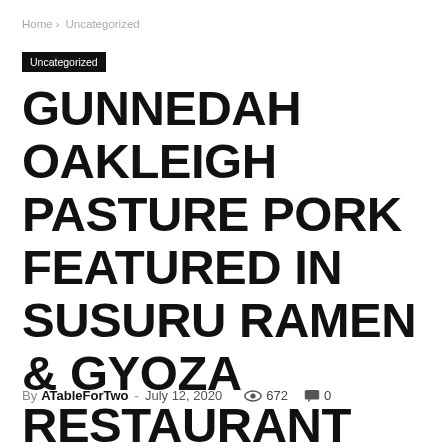Home › Uncategorized
Uncategorized
GUNNEDAH OAKLEIGH PASTURE PORK FEATURED IN SUSURU RAMEN & GYOZA RESTAURANT DISH – NAMOI VALLEY INDEPENDENT
By ATableForTwo - July 12, 2020  672  0